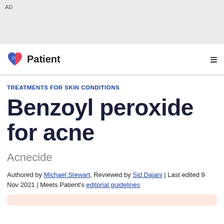AD
[Figure (logo): Patient website logo with heart icon and 'Patient' text, plus hamburger menu icon]
TREATMENTS FOR SKIN CONDITIONS
Benzoyl peroxide for acne
Acnecide
Authored by Michael Stewart, Reviewed by Sid Dajani | Last edited 9 Nov 2021 | Meets Patient's editorial guidelines